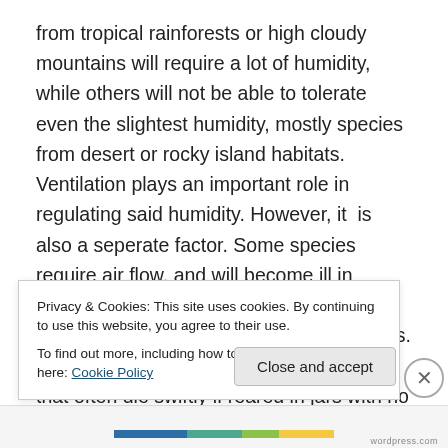from tropical rainforests or high cloudy mountains will require a lot of humidity, while others will not be able to tolerate even the slightest humidity, mostly species from desert or rocky island habitats. Ventilation plays an important role in regulating said humidity. However, it is also a seperate factor. Some species require air flow, and will become ill in airtight containers, regardless of the required level of humidity for these species. (A good example is larvae of Papilionidae, that often die swiftly if reared in jars with no ventilation or air flow, even if provided the correct level of humidity)
Privacy & Cookies: This site uses cookies. By continuing to use this website, you agree to their use.
To find out more, including how to control cookies, see here: Cookie Policy